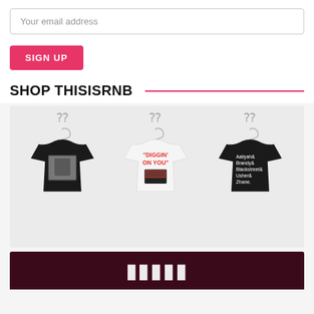Your email address
SIGN UP
SHOP THISISRNB
[Figure (photo): Three t-shirts on hangers against a light gray background. Left: black shirt with a black-and-white photo graphic. Center: white shirt with red text reading DIGGIN' ON YOU and a record crate graphic. Right: black shirt with white text listing Aaliyah& Brandy& Blackstreet& Usher& Zhane.]
[Figure (photo): Dark maroon/burgundy banner at the bottom with large white bold text, partially visible, appears to be a promotional banner.]